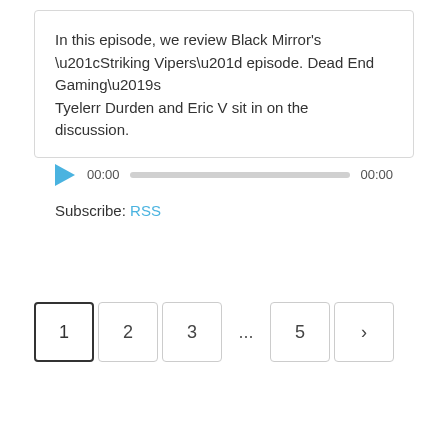In this episode, we review Black Mirror's “Striking Vipers” episode. Dead End Gaming’s Tyelerr Durden and Eric V sit in on the discussion.
[Figure (other): Audio player with play button, current time 00:00, progress bar, and total time 00:00]
Subscribe: RSS
Pagination: 1, 2, 3, ..., 5, >